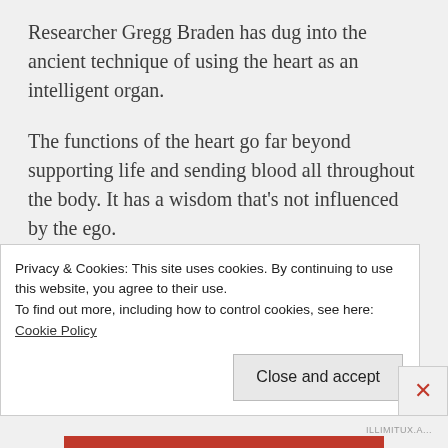Researcher Gregg Braden has dug into the ancient technique of using the heart as an intelligent organ.
The functions of the heart go far beyond supporting life and sending blood all throughout the body. It has a wisdom that’s not influenced by the ego.
As such, it gives you information from a neutral place. Your heart knows your past, present, and
Privacy & Cookies: This site uses cookies. By continuing to use this website, you agree to their use.
To find out more, including how to control cookies, see here: Cookie Policy
Close and accept